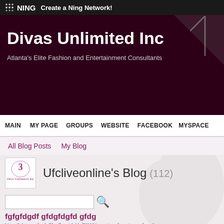NING — Create a Ning Network!
Divas Unlimited Inc
Atlanta's Elite Fashion and Entertainment Consultants
MAIN  MY PAGE  GROUPS  WEBSITE  FACEBOOK  MYSPACE
All Blog Posts    My Blog
Ufcliveonline's Blog (112)
fgfgfdgdf gfdgfdgfd gfdg
https://ehs.wustl.edu/files/formidable/7/2021-masters-live-stream-free-8-ap…
https://ehs.wustl.edu/files/formidable/7/Masters-2021-Live-Stream-Free.pdf…